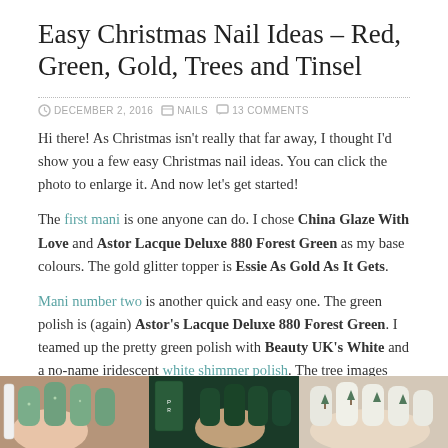Easy Christmas Nail Ideas – Red, Green, Gold, Trees and Tinsel
DECEMBER 2, 2016   NAILS   13 COMMENTS
Hi there! As Christmas isn't really that far away, I thought I'd show you a few easy Christmas nail ideas. You can click the photo to enlarge it. And now let's get started!
The first mani is one anyone can do. I chose China Glaze With Love and Astor Lacque Deluxe 880 Forest Green as my base colours. The gold glitter topper is Essie As Gold As It Gets.
Mani number two is another quick and easy one. The green polish is (again) Astor's Lacque Deluxe 880 Forest Green. I teamed up the pretty green polish with Beauty UK's White and a no-name iridescent white shimmer polish. The tree images can be found on Pueen's 42 plate (Love Elements set).
[Figure (photo): Three-panel photo strip showing Christmas nail manicures: left panel shows green glitter nails, center panel shows dark forest green nails with nail polish bottle, right panel shows white nails with green tree stamping design.]